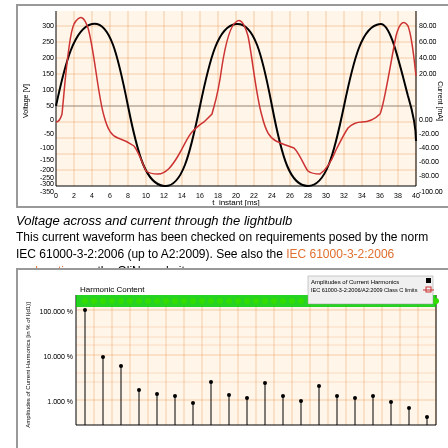[Figure (continuous-plot): Waveform plot showing voltage (black sinusoidal wave, left y-axis in Volts from -350 to 300) and current (red wave, right y-axis in mA from -100 to 80) through a lightbulb over time (x-axis: t_instant [ms] from 0 to 40). Two complete cycles shown.]
Voltage across and current through the lightbulb
This current waveform has been checked on requirements posed by the norm IEC 61000-3-2:2006 (up to A2:2009). See also the IEC 61000-3-2:2006 explanation on the OliNo website.
[Figure (bar-chart): Harmonic Content bar chart showing Amplitudes of Current Harmonics in % of I(d1) on logarithmic y-axis. IEC 61000-3-2:2006/A2:2009 Class C limits shown as green dots at top. First harmonic at 100%, subsequent harmonics decreasing on log scale.]